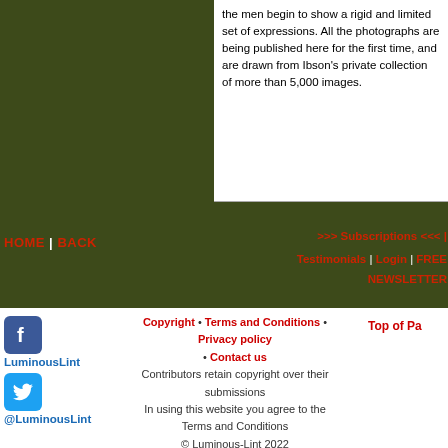the men begin to show a rigid and limited set of expressions. All the photographs are being published here for the first time, and are drawn from Ibson's private collection of more than 5,000 images.
HOME | BACK   >>> Subscriptions <<< | Testimonials | Login | FREE NEWSLETTER
Copyright • Terms and Conditions • Privacy policy • Contact us
Contributors retain copyright over their submissions
In using this website you agree to the Terms and Conditions
© Luminous-Lint 2022
LuminousLint
@LuminousLint
Top of Pa